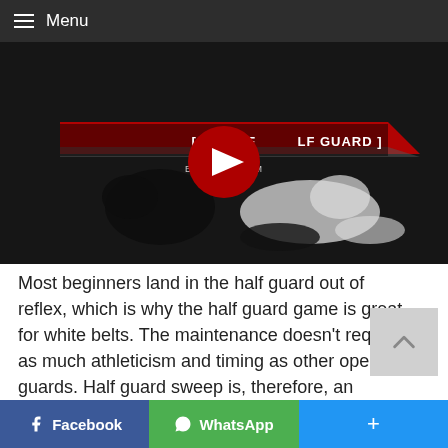Menu
[Figure (screenshot): YouTube video thumbnail showing two BJJ fighters on a dark mat. Title overlay reads '[ 5 SWEEPS FROM HALF GUARD ]'. A red YouTube play button is centered on the image.]
Most beginners land in the half guard out of reflex, which is why the half guard game is great for white belts. The maintenance doesn’t require as much athleticism and timing as other open guards. Half guard sweep is, therefore, an indispensable part of any BJJ player’s guard game.
Facebook  WhatsApp  +